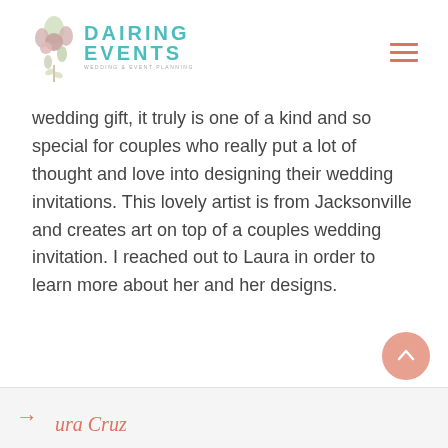Dairing Events — Wedding & Event Planning
wedding gift, it truly is one of a kind and so special for couples who really put a lot of thought and love into designing their wedding invitations. This lovely artist is from Jacksonville and creates art on top of a couples wedding invitation. I reached out to Laura in order to learn more about her and her designs.
Laura Cruz